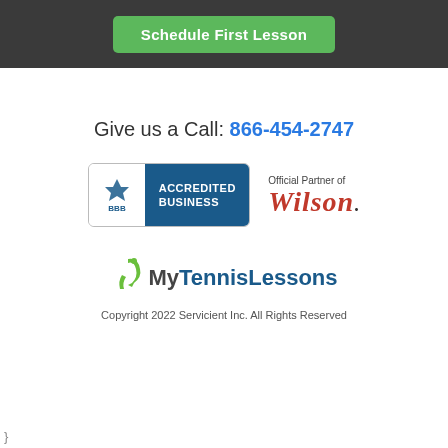Schedule First Lesson
Give us a Call: 866-454-2747
[Figure (logo): BBB Accredited Business badge with blue panel on right side and BBB logo on left]
[Figure (logo): Official Partner of Wilson logo in red italic serif font]
[Figure (logo): MyTennisLessons logo with green tennis player icon and blue text]
Copyright 2022 Servicient Inc. All Rights Reserved